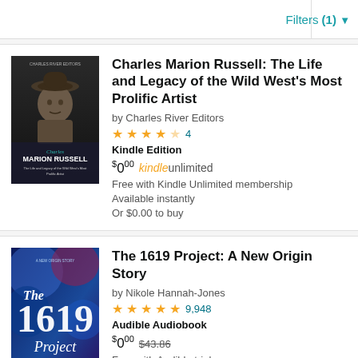Filters (1) ▾
[Figure (photo): Book cover: Charles Marion Russell, black and white photo of man in hat, with title text overlay]
Charles Marion Russell: The Life and Legacy of the Wild West's Most Prolific Artist
by Charles River Editors
★★★★☆ 4
Kindle Edition
$0.00 kindleunlimited
Free with Kindle Unlimited membership
Available instantly
Or $0.00 to buy
[Figure (photo): Book cover: The 1619 Project, blue abstract background with large '1619' text and 'Project' below]
The 1619 Project: A New Origin Story
by Nikole Hannah-Jones
★★★★★ 9,948
Audible Audiobook
$0.00 $43.86
Free with Audible trial
Available instantly